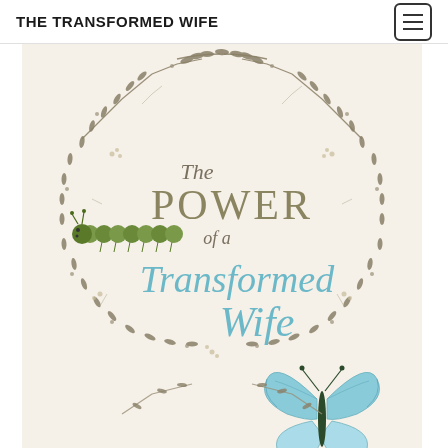THE TRANSFORMED WIFE
[Figure (illustration): Book cover of 'The Power of a Transformed Wife' featuring a botanical wreath of olive/sage leaves and branches forming a circular frame on a cream/beige background, with a green caterpillar on the left side and a large blue butterfly on the lower right. Text in the center reads: 'The' in gray serif, 'POWER' in large olive/sage serif capitals, 'of a' in gray serif, 'Transformed Wife' in blue-green cursive script.]